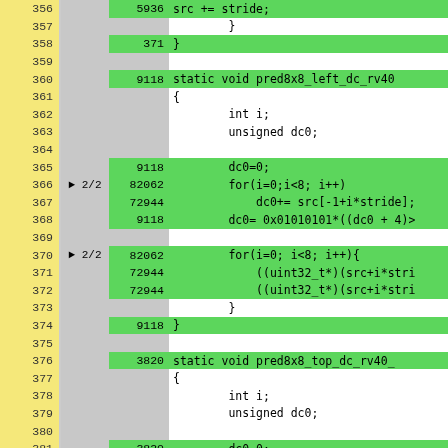[Figure (screenshot): Code coverage viewer showing C source lines 356-382 with line numbers (yellow), branch indicators (gray), execution counts (green when executed), and code text (green when executed, white when not).]